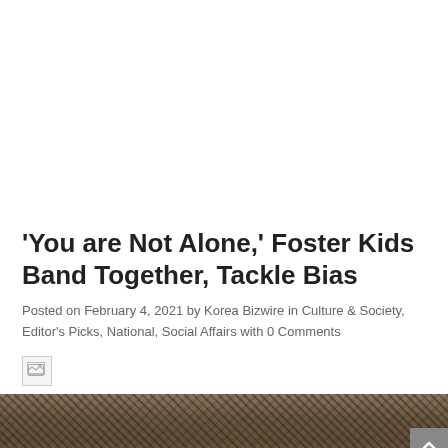'You are Not Alone,' Foster Kids Band Together, Tackle Bias
Posted on February 4, 2021 by Korea Bizwire in Culture & Society, Editor's Picks, National, Social Affairs with 0 Comments
[Figure (photo): Broken image placeholder icon]
[Figure (photo): Partial photo strip showing a nature/outdoor scene with mottled brown and grey tones, partially visible at the bottom of the page. A scroll-to-top button is visible in the bottom-right corner.]